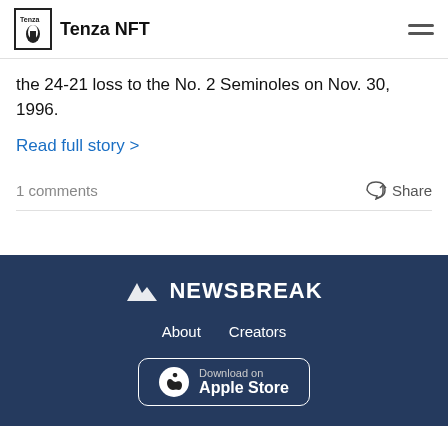Tenza NFT
the 24-21 loss to the No. 2 Seminoles on Nov. 30, 1996.
Read full story >
1 comments
Share
NEWSBREAK  About  Creators  Download on Apple Store